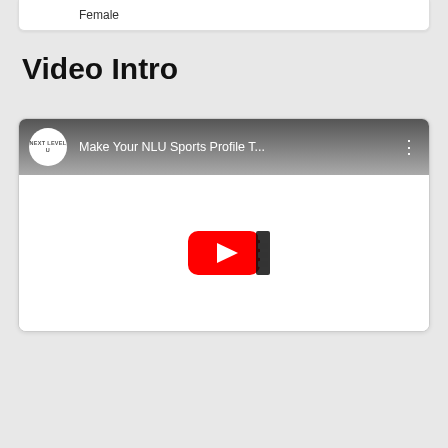Female
Video Intro
[Figure (screenshot): YouTube video embed showing 'Make Your NLU Sports Profile T...' with a red YouTube play button in the center and the NLU channel logo circle on the left of the header.]